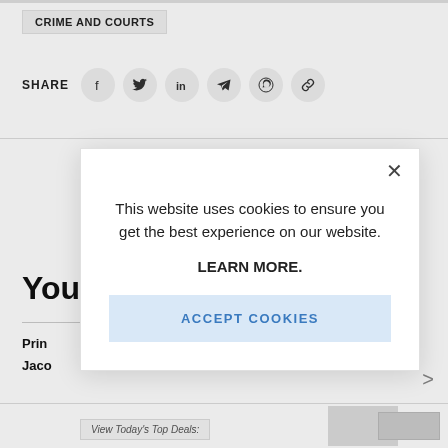CRIME AND COURTS
SHARE
[Figure (screenshot): Cookie consent modal dialog over a news website page. Shows social share icons (Facebook, Twitter, LinkedIn, Telegram, WhatsApp, Link), partial headline text 'You' and partial byline 'Prin... Jaco...' in background. Modal contains: 'This website uses cookies to ensure you get the best experience on our website. LEARN MORE. ACCEPT COOKIES' with an X close button.]
This website uses cookies to ensure you get the best experience on our website.
LEARN MORE.
ACCEPT COOKIES